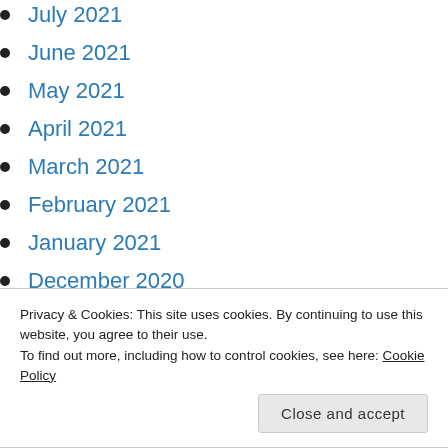July 2021
June 2021
May 2021
April 2021
March 2021
February 2021
January 2021
December 2020
November 2020
October 2020
September 2020
Privacy & Cookies: This site uses cookies. By continuing to use this website, you agree to their use.
To find out more, including how to control cookies, see here: Cookie Policy
March 2020